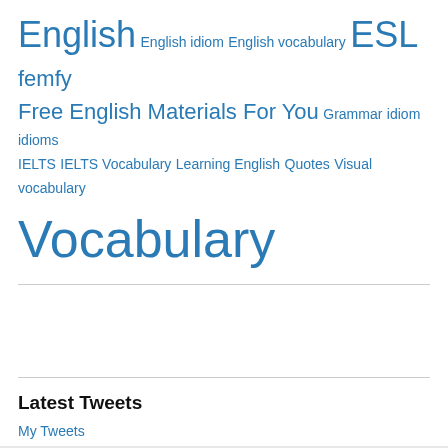English English idiom English vocabulary ESL femfy Free English Materials For You Grammar idiom idioms IELTS IELTS Vocabulary Learning English Quotes Visual vocabulary Vocabulary
Latest Tweets
My Tweets
Advertisements
[Figure (screenshot): DuckDuckGo advertisement banner: orange background with text 'Search, browse, and email with more privacy. All in One Free App' and a phone showing the DuckDuckGo logo]